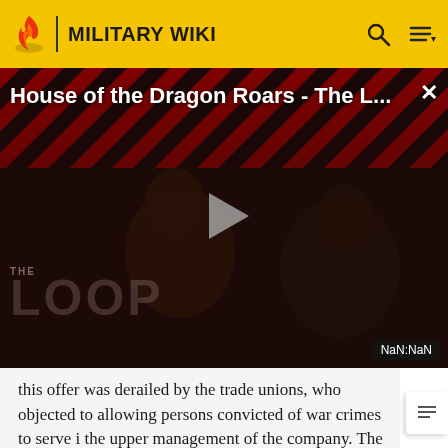MILITARY WIKI
[Figure (screenshot): Video thumbnail for 'House of the Dragon Roars - The L...' with diagonal red and black stripes background, two figures visible, play button in center, THE LOOP watermark, NaN:NaN duration badge]
this offer was derailed by the trade unions, who objected to allowing persons convicted of war crimes to serve in the upper management of the company. The strong antipathy to Peiper, his association with Ferry Porsche and the related negative impact on sales in Porsche's